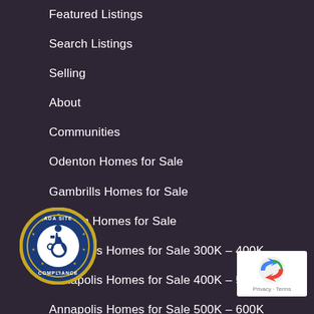Featured Listings
Search Listings
Selling
About
Communities
Odenton Homes for Sale
Gambrills Homes for Sale
Crofton Homes for Sale
Annapolis Homes for Sale 300K – 400K
Annapolis Homes for Sale 400K – 500K
Annapolis Homes for Sale 500K – 600K
Annapolis Homes for Sale 600K – 700K
Annapolis Homes for Sale 600K – 700K
Annapolis Homes for Sale 700K- 800K
[Figure (logo): ADA Site Compliance badge with wheelchair accessibility icon in blue and gold circular seal]
[Figure (logo): reCAPTCHA badge with Google reCAPTCHA logo and Privacy - Terms text]